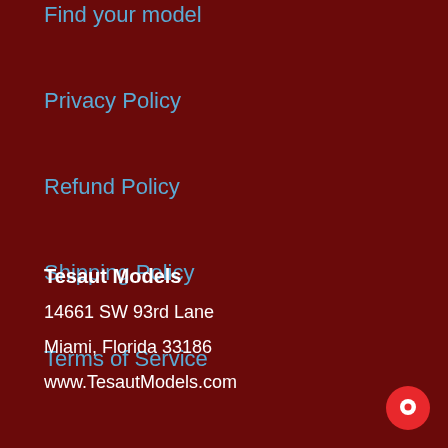Find your model
Privacy Policy
Refund Policy
Shipping Policy
Terms of Service
Tesaut Models
14661 SW 93rd Lane
Miami, Florida 33186
www.TesautModels.com